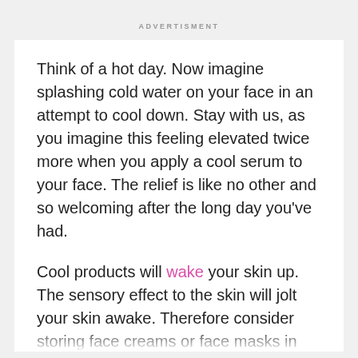ADVERTISMENT
Think of a hot day. Now imagine splashing cold water on your face in an attempt to cool down. Stay with us, as you imagine this feeling elevated twice more when you apply a cool serum to your face. The relief is like no other and so welcoming after the long day you've had.
Cool products will wake your skin up. The sensory effect to the skin will jolt your skin awake. Therefore consider storing face creams or face masks in your minifridge to use as the last calming step in your routine. However, this